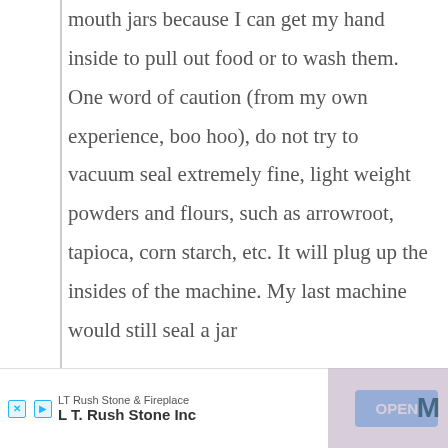condition in the jar. I use only wide mouth jars because I can get my hand inside to pull out food or to wash them. One word of caution (from my own experience, boo hoo), do not try to vacuum seal extremely fine, light weight powders and flours, such as arrowroot, tapioca, corn starch, etc. It will plug up the insides of the machine. My last machine would still seal a jar
LT Rush Stone & Fireplace | L T. Rush Stone Inc | OPEN